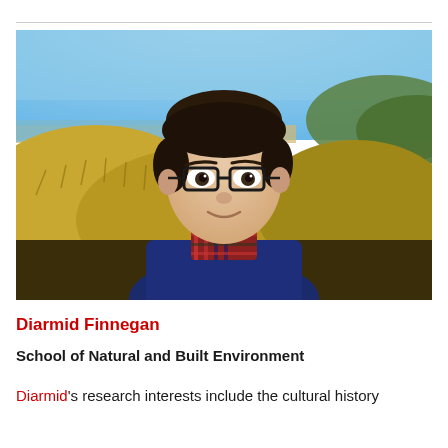[Figure (photo): Portrait photo of Diarmid Finnegan, a man wearing glasses, a blue jacket and plaid shirt, standing outdoors at a coastal/beach scene with sand dunes and blue sky in the background.]
Diarmid Finnegan
School of Natural and Built Environment
Diarmid's research interests include the cultural history